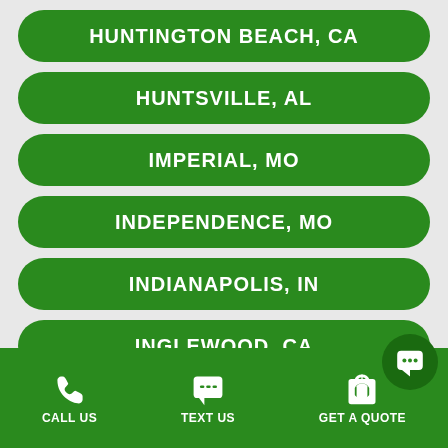HUNTINGTON BEACH, CA
HUNTSVILLE, AL
IMPERIAL, MO
INDEPENDENCE, MO
INDIANAPOLIS, IN
INGLEWOOD, CA
IRVINE, CA
CALL US   TEXT US   GET A QUOTE